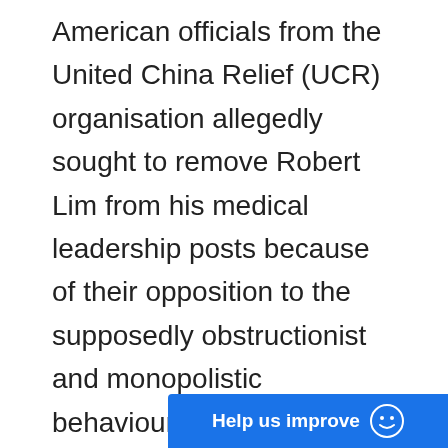American officials from the United China Relief (UCR) organisation allegedly sought to remove Robert Lim from his medical leadership posts because of their opposition to the supposedly obstructionist and monopolistic behaviours of the American Bureau for Medical Aid to China (a New York-based organisation also known as ABMAC), which Lim represented in China.[29] Other accounts suggest that some Chinese leaders opposed Lim's plan to extend medical aid to communist-held areas. These critics also thought his six-year medic